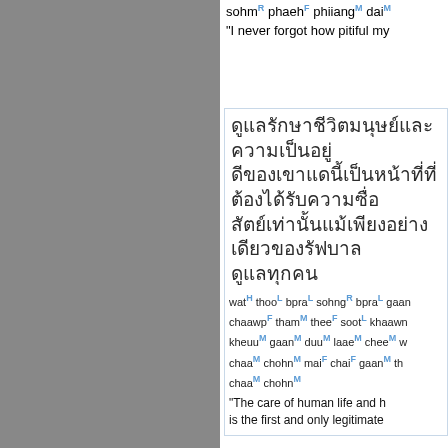sohmR phaehtF phiiangM daiM "I never forgot how pitiful my
Thai text block 1 (Thai script characters)
watH thooL braL sohngR bpraL gaa... chaawpF thamM theeF sootL khaawn... kheeuM gaanM duuM laaeM cheeM w... chaaMchohnM maiF chaiF gaanM th... chaaMchohnM
"The care of human life and h... is the first and only legitimate
Thai text block 2 (Thai script characters)
maaeF pho:hM sohpL jeungM bpenM... samR khanM yaangL yingF dtaawL g... witH
"Mae Posop thus is a goddes... the daily lives [of those who d